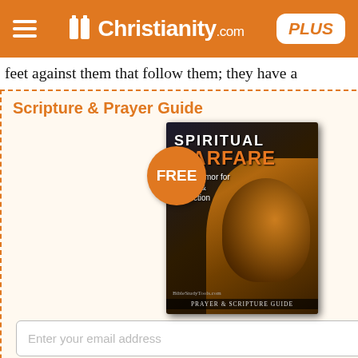Christianity.com PLUS
feet against them that follow them; they have a
[Figure (other): Scripture & Prayer Guide popup advertisement featuring a 'Spiritual Warfare: God's Armor for Victory & Protection' book cover with a lion, a FREE badge, email input field, Get My Copy button, and fine print about Christianity.com]
g whatever is
ing to Galen {q}, all the
their eggs, are hard
excermentitious: Aben
dry as a stick, and it is
no moisture in it; and
n of the whole
young one, for that
e is some moisture in
ttle; wherefore as the
s reckoned by the
it may the rather be
e, since if not here, it
where observed; and